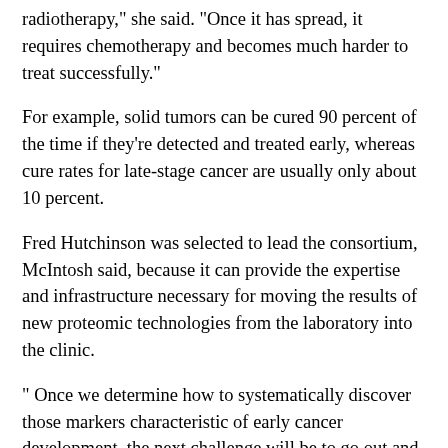radiotherapy," she said. "Once it has spread, it requires chemotherapy and becomes much harder to treat successfully."
For example, solid tumors can be cured 90 percent of the time if they're detected and treated early, whereas cure rates for late-stage cancer are usually only about 10 percent.
Fred Hutchinson was selected to lead the consortium, McIntosh said, because it can provide the expertise and infrastructure necessary for moving the results of new proteomic technologies from the laboratory into the clinic.
" Once we determine how to systematically discover those markers characteristic of early cancer development, the next challenge will be to go out and conduct population-based studies to find out if using them clinically can save lives. Fred Hutchinson Cancer Research Center has been a leader in that aspect of early detection as well," McIntosh said The